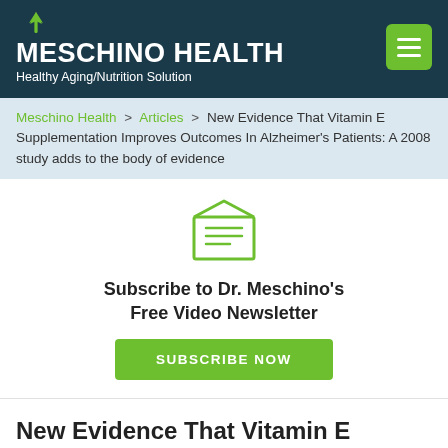MESCHINO HEALTH — Healthy Aging/Nutrition Solution
Meschino Health > Articles > New Evidence That Vitamin E Supplementation Improves Outcomes In Alzheimer's Patients: A 2008 study adds to the body of evidence
[Figure (illustration): Green envelope icon with letter inside, open flap]
Subscribe to Dr. Meschino's Free Video Newsletter
SUBSCRIBE NOW
New Evidence That Vitamin E Supplementation Improves Outcomes In